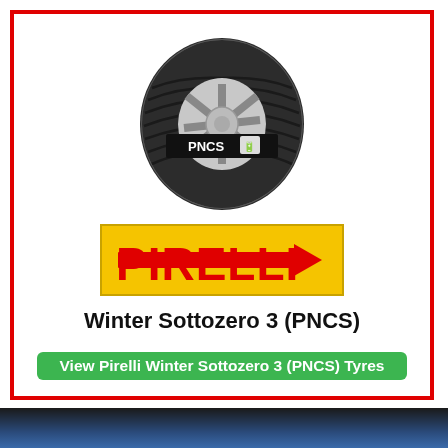[Figure (photo): Pirelli Winter Sottozero 3 PNCS tyre viewed from front at an angle, showing PNCS logo on the tyre sidewall]
[Figure (logo): Pirelli logo on yellow background with red text reading PIRELLI]
Winter Sottozero 3 (PNCS)
View Pirelli Winter Sottozero 3 (PNCS) Tyres